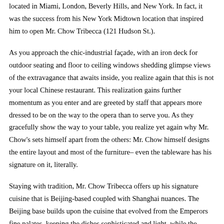located in Miami, London, Beverly Hills, and New York. In fact, it was the success from his New York Midtown location that inspired him to open Mr. Chow Tribecca (121 Hudson St.).
As you approach the chic-industrial façade, with an iron deck for outdoor seating and floor to ceiling windows shedding glimpse views of the extravagance that awaits inside, you realize again that this is not your local Chinese restaurant. This realization gains further momentum as you enter and are greeted by staff that appears more dressed to be on the way to the opera than to serve you. As they gracefully show the way to your table, you realize yet again why Mr. Chow's sets himself apart from the others: Mr. Chow himself designs the entire layout and most of the furniture– even the tableware has his signature on it, literally.
Staying with tradition, Mr. Chow Tribecca offers up his signature cuisine that is Beijing-based coupled with Shanghai nuances. The Beijing base builds upon the cuisine that evolved from the Emperors fine palates, keeping the dishes sophisticated and light, while the Shanghai influence represents more of the bold flavors from China, resulting in a combination